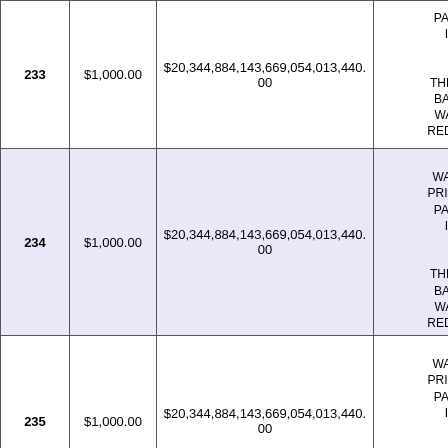|  | $1,000.00 | $20,344,884,143,669,054,013,440.00 | PAYMENT IS LESS THAN $0.01 - THE LOAN BALANCE WAS NOT REDUCED! | $ |
| --- | --- | --- | --- | --- |
| 233 | $1,000.00 | $20,344,884,143,669,054,013,440.00 | PAYMENT IS LESS THAN $0.01 - THE LOAN BALANCE WAS NOT REDUCED! | $ |
| 234 | $1,000.00 | $20,344,884,143,669,054,013,440.00 | $0.00 WARNING PRINCIPAL PAYMENT IS LESS THAN $0.01 - THE LOAN BALANCE WAS NOT REDUCED! | $ |
| 235 | $1,000.00 | $20,344,884,143,669,054,013,440.00 | $0.00 WARNING PRINCIPAL PAYMENT IS LESS THAN $0.01 - THE LOAN BALANCE WAS NOT REDUCED! | $ |